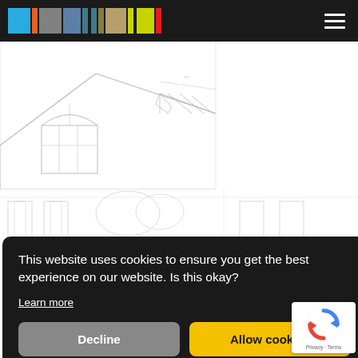[Figure (screenshot): Dark navigation bar with color swatches (cyan, orange, gray, gray-blue, teal, olive, tan, yellow-green, red) and hamburger menu icon on right]
[Figure (engineering-diagram): Architectural elevation drawing of a house showing roof, dormer window with round arch, and structural details — top portion]
[Figure (engineering-diagram): Architectural elevation drawing of a house — lower portion showing facade details]
This website uses cookies to ensure you get the best experience on our website. Is this okay?
Learn more
Decline
Allow cookies